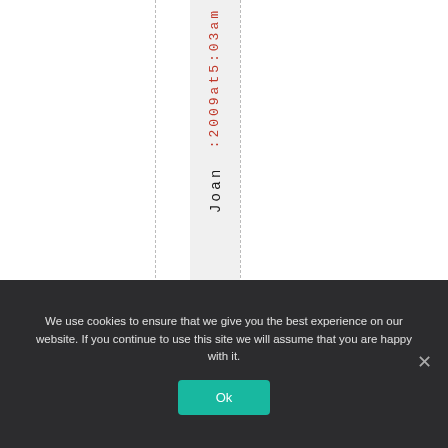:2009at5:03am Joan
We use cookies to ensure that we give you the best experience on our website. If you continue to use this site we will assume that you are happy with it.